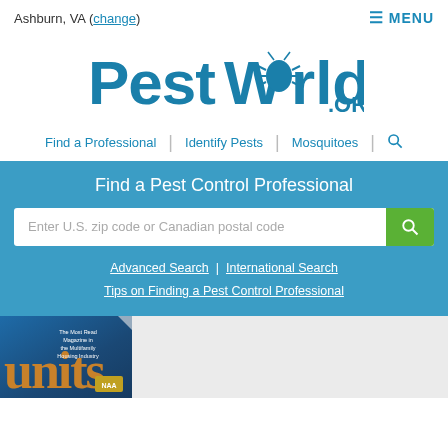Ashburn, VA (change)   ☰ MENU
[Figure (logo): PestWorld.org logo in blue bold text with an insect graphic inside the letter 'o' of World]
Find a Professional | Identify Pests | Mosquitoes | 🔍
Find a Pest Control Professional
Enter U.S. zip code or Canadian postal code
Advanced Search | International Search
Tips on Finding a Pest Control Professional
[Figure (photo): Partial view of a magazine cover showing the word 'units' in large orange letters on a blue background, with small text reading 'The Most Read Magazine in the Multifamily Housing Industry' and a logo at the bottom right]